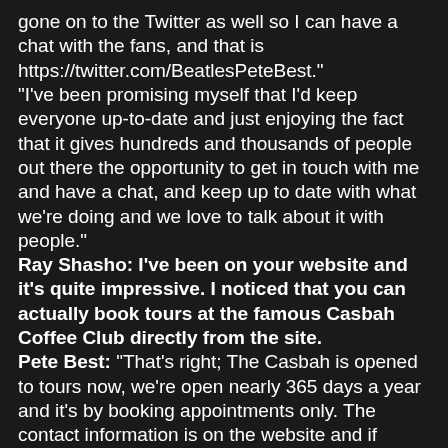gone on to the Twitter as well so I can have a chat with the fans, and that is https://twitter.com/BeatlesPeteBest."
"I've been promising myself that I'd keep everyone up-to-date and just enjoying the fact that it gives hundreds and thousands of people out there the opportunity to get in touch with me and have a chat, and keep up to date with what we're doing and we love to talk about it with people."
Ray Shasho: I've been on your website and it's quite impressive. I noticed that you can actually book tours at the famous Casbah Coffee Club directly from the site.
Pete Best: "That's right; The Casbah is opened to tours now, we're open nearly 365 days a year and it's by booking appointments only. The contact information is on the website and if people phone up and make an appointment then we'll be more than glad to take them around and give them a history of The Casbah and the history of Merseybeat from the early years of The Beatles."
Ray Shasho: Your mom was quite a visionary and entrepreneur wasn't she?
Pete Best: "Let's be quite honest about it Ray, she bet all her money on a horse, "Never Say Die" which we didn't know about, and that horse had jockey Lester Piggott on it,